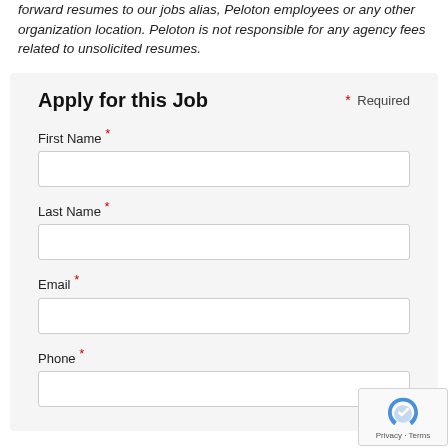forward resumes to our jobs alias, Peloton employees or any other organization location. Peloton is not responsible for any agency fees related to unsolicited resumes.
Apply for this Job
* Required
First Name *
Last Name *
Email *
Phone *